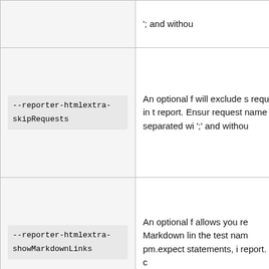| Option | Description |
| --- | --- |
| '; and withou | '; and withou |
| --reporter-htmlextra-skipRequests | An optional f will exclude s requests, in t report. Ensur request name separated wi ';' and withou |
| --reporter-htmlextra-showMarkdownLinks | An optional f allows you re Markdown lin the test nam pm.expect statements, i report. This c |